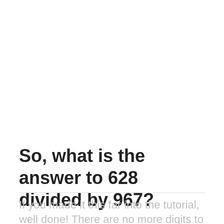So, what is the answer to 628 divided by 967?
If you made it this far into the tutorial, well done! There are no more digits to move